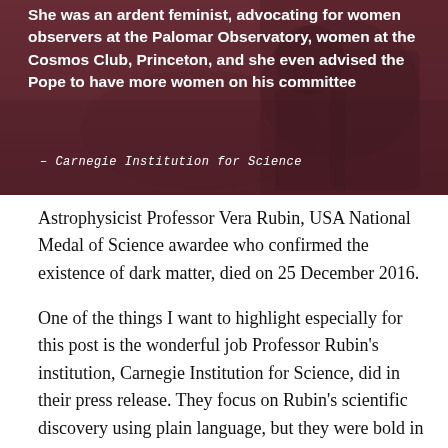[Figure (photo): Dark reddish-tinted photo of a person at a telescope or scientific instrument, overlaid with a white bold quote text about Vera Rubin being an ardent feminist advocating for women observers at Palomar Observatory, women at the Cosmos Club, Princeton, and advising the Pope, attributed to Carnegie Institution for Science]
Astrophysicist Professor Vera Rubin, USA National Medal of Science awardee who confirmed the existence of dark matter, died on 25 December 2016.
One of the things I want to highlight especially for this post is the wonderful job Professor Rubin's institution, Carnegie Institution for Science, did in their press release. They focus on Rubin's scientific discovery using plain language, but they were bold in also highlighting her gender equity work in science, by calling her an "ardent feminist". This is so important because women's advocacy for gender equity is scientific work that is unpaid; it is undertaken on